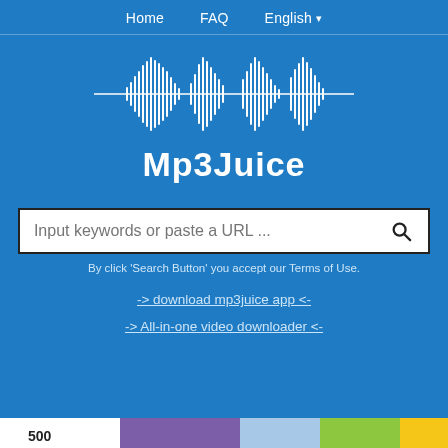Home   FAQ   English
[Figure (illustration): White audio waveform graphic on blue background]
Mp3Juice
Input keywords or paste a URL ...
By click 'Search Button' you accept our Terms of Use.
-> download mp3juice app <-
-> All-in-one video downloader <-